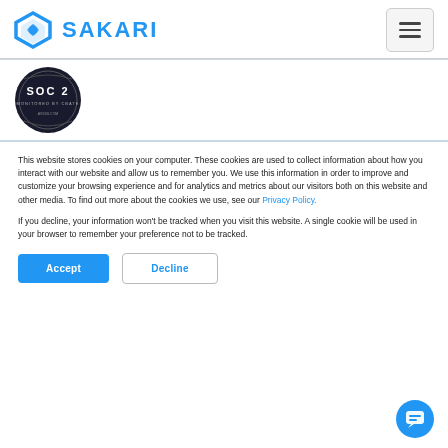SAKARI
[Figure (logo): SOC 2 monitored badge - dark circular badge with SOC 2 text]
This website stores cookies on your computer. These cookies are used to collect information about how you interact with our website and allow us to remember you. We use this information in order to improve and customize your browsing experience and for analytics and metrics about our visitors both on this website and other media. To find out more about the cookies we use, see our Privacy Policy.
If you decline, your information won't be tracked when you visit this website. A single cookie will be used in your browser to remember your preference not to be tracked.
Accept   Decline